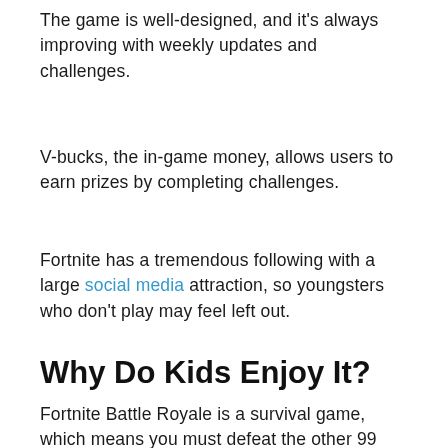The game is well-designed, and it's always improving with weekly updates and challenges.
V-bucks, the in-game money, allows users to earn prizes by completing challenges.
Fortnite has a tremendous following with a large social media attraction, so youngsters who don't play may feel left out.
Why Do Kids Enjoy It?
Fortnite Battle Royale is a survival game, which means you must defeat the other 99 online players in order to win. This competitive